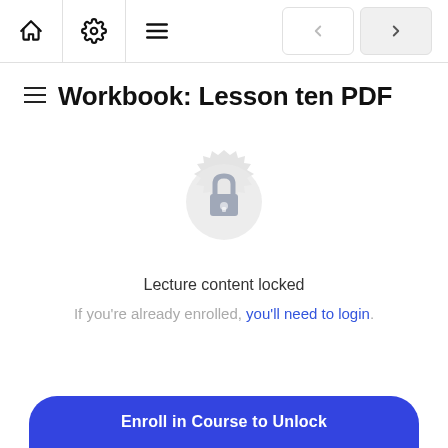Workbook: Lesson ten PDF
Workbook: Lesson ten PDF
[Figure (illustration): A locked padlock icon centered inside a decorative circular badge/seal shape in light gray, indicating locked content.]
Lecture content locked
If you're already enrolled, you'll need to login.
Enroll in Course to Unlock